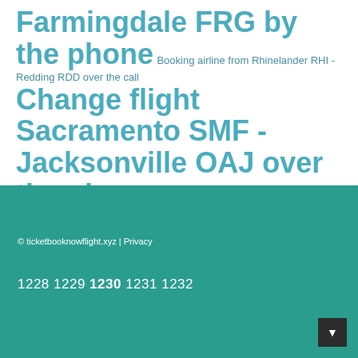Farmingdale FRG by the phone Booking airline from Rhinelander RHI - Redding RDD over the call Change flight Sacramento SMF - Jacksonville OAJ over the phone Changing ticket airline Aspen ASE - Amarillo AMA by the phone
© ticketbooknowflight.xyz | Privacy
1228 1229 1230 1231 1232